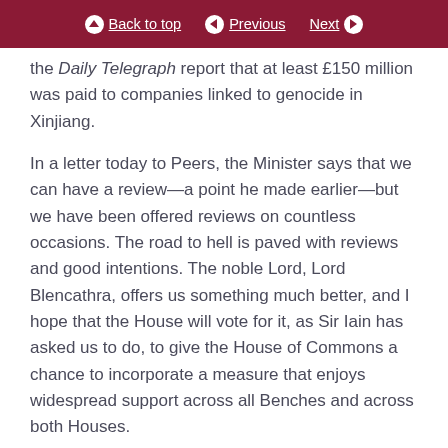Back to top | Previous | Next
the Daily Telegraph report that at least £150 million was paid to companies linked to genocide in Xinjiang.
In a letter today to Peers, the Minister says that we can have a review—a point he made earlier—but we have been offered reviews on countless occasions. The road to hell is paved with reviews and good intentions. The noble Lord, Lord Blencathra, offers us something much better, and I hope that the House will vote for it, as Sir Iain has asked us to do, to give the House of Commons a chance to incorporate a measure that enjoys widespread support across all Benches and across both Houses.
Lord Rooker >